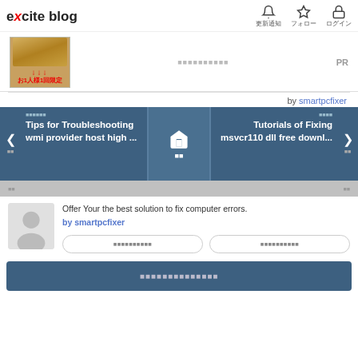[Figure (logo): Excite Blog logo with red stylized 'x']
[Figure (infographic): Ad banner with brown stones image, red arrows, Japanese text お1人様1回限定, PR label]
by smartpcfixer
Tips for Troubleshooting wmi provider host high ...
[Figure (illustration): Home icon navigation card in center]
Tutorials of Fixing msvcr110 dll free downl...
Offer Your the best solution to fix computer errors.
by smartpcfixer
ブログをフォローする (button)
このブログの更新通知を受け取る (footer button)